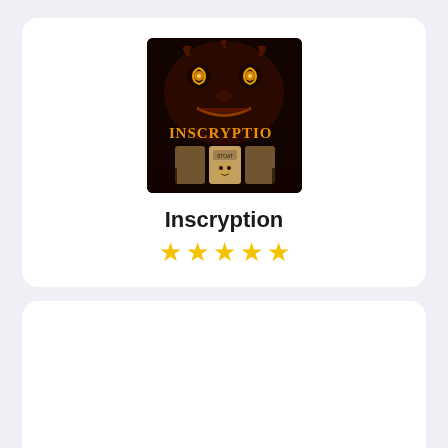[Figure (illustration): Game cover art for Inscryption showing a dark, spooky face with glowing eyes and golden text reading INSCRYPTION with card game elements below]
Inscryption
★★★★★
Teardown
★★★★★ (partially visible)